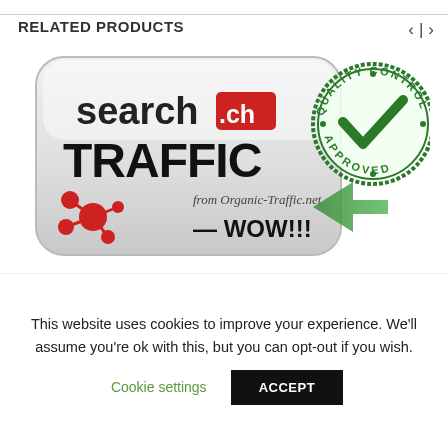RELATED PRODUCTS
[Figure (illustration): Product image showing 'search.ch TRAFFIC from Organic-Traffic.net — WOW!!!' with a Quality Control Approved stamp badge and red molecule graphic and green arrow]
This website uses cookies to improve your experience. We'll assume you're ok with this, but you can opt-out if you wish.
Cookie settings
ACCEPT